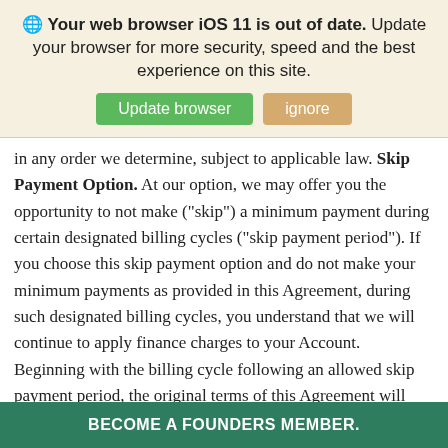[Figure (infographic): Browser update notification banner with globe icon, bold warning text 'Your web browser iOS 11 is out of date.', additional text, and two buttons: green 'Update browser' and tan 'ignore']
in any order we determine, subject to applicable law. Skip Payment Option. At our option, we may offer you the opportunity to not make (“skip”) a minimum payment during certain designated billing cycles (“skip payment period”). If you choose this skip payment option and do not make your minimum payments as provided in this Agreement, during such designated billing cycles, you understand that we will continue to apply finance charges to your Account. Beginning with the billing cycle following an allowed skip payment period, the original terms of this Agreement will apply. We have no obligation to accept your application for any skip payment period offered, and you authorize us to investigate
BECOME A FOUNDERS MEMBER.